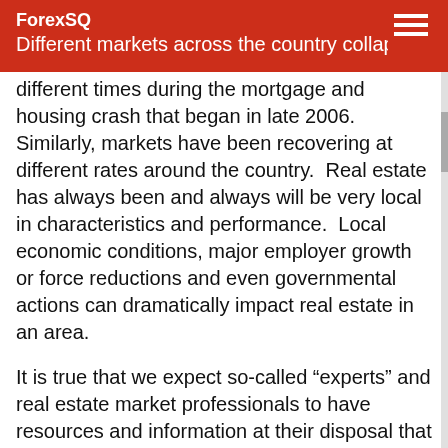ForexSQ
Different markets across the country collapsed at different times during the mortgage and housing crash that began in late 2006.  Similarly, markets have been recovering at different rates around the country.  Real estate has always been and always will be very local in characteristics and performance.  Local economic conditions, major employer growth or force reductions and even governmental actions can dramatically impact real estate in an area.
It is true that we expect so-called “experts” and real estate market professionals to have resources and information at their disposal that we do not.  However, none of them have a crystal ball, and economies and markets respond to a great many external and local influences, from global to micro economies.  Do as